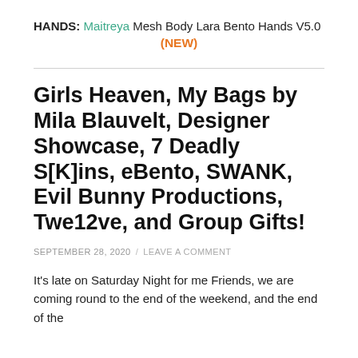HANDS: Maitreya Mesh Body Lara Bento Hands V5.0 (NEW)
Girls Heaven, My Bags by Mila Blauvelt, Designer Showcase, 7 Deadly S[K]ins, eBento, SWANK, Evil Bunny Productions, Twe12ve, and Group Gifts!
SEPTEMBER 28, 2020 / LEAVE A COMMENT
It's late on Saturday Night for me Friends, we are coming round to the end of the weekend, and the end of the